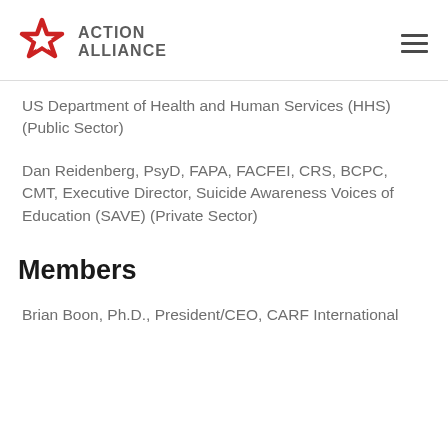ACTION ALLIANCE
US Department of Health and Human Services (HHS) (Public Sector)
Dan Reidenberg, PsyD, FAPA, FACFEI, CRS, BCPC, CMT, Executive Director, Suicide Awareness Voices of Education (SAVE) (Private Sector)
Members
Brian Boon, Ph.D., President/CEO, CARF International